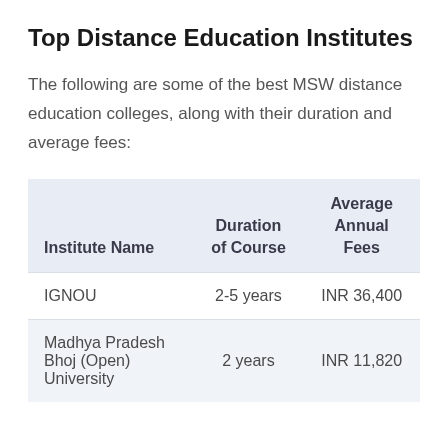Top Distance Education Institutes
The following are some of the best MSW distance education colleges, along with their duration and average fees:
| Institute Name | Duration of Course | Average Annual Fees |
| --- | --- | --- |
| IGNOU | 2-5 years | INR 36,400 |
| Madhya Pradesh Bhoj (Open) University | 2 years | INR 11,820 |